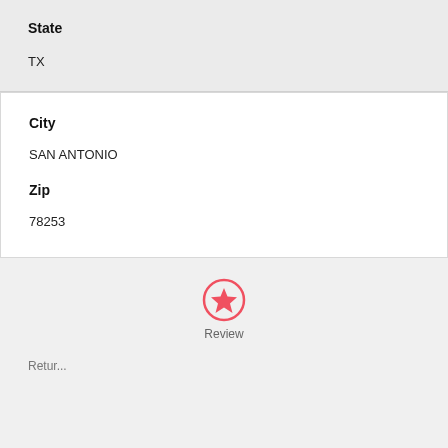State
TX
City
SAN ANTONIO
Zip
78253
[Figure (infographic): Review button: circle with star icon and 'Review' label below]
Review